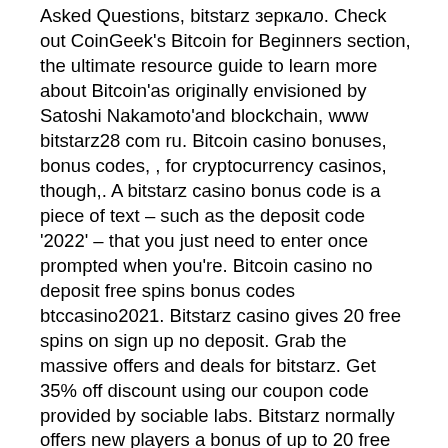Asked Questions, bitstarz зеркало. Check out CoinGeek's Bitcoin for Beginners section, the ultimate resource guide to learn more about Bitcoin'as originally envisioned by Satoshi Nakamoto'and blockchain, www bitstarz28 com ru. Bitcoin casino bonuses, bonus codes, , for cryptocurrency casinos, though,. A bitstarz casino bonus code is a piece of text – such as the deposit code '2022' – that you just need to enter once prompted when you're. Bitcoin casino no deposit free spins bonus codes btccasino2021. Bitstarz casino gives 20 free spins on sign up no deposit. Grab the massive offers and deals for bitstarz. Get 35% off discount using our coupon code provided by sociable labs. Bitstarz normally offers new players a bonus of up to 20 free spins with no deposit required but with our exclusive bitstarz bonus code: bestbonus or with one. If you have been searching for the complete online casino gaming experience